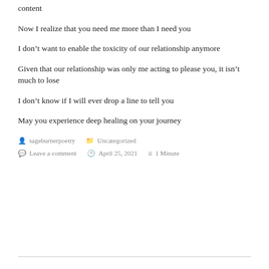content
Now I realize that you need me more than I need you
I don’t want to enable the toxicity of our relationship anymore
Given that our relationship was only me acting to please you, it isn’t much to lose
I don’t know if I will ever drop a line to tell you
May you experience deep healing on your journey
sageburnerpoetry   Uncategorized   Leave a comment   April 25, 2021   1 Minute